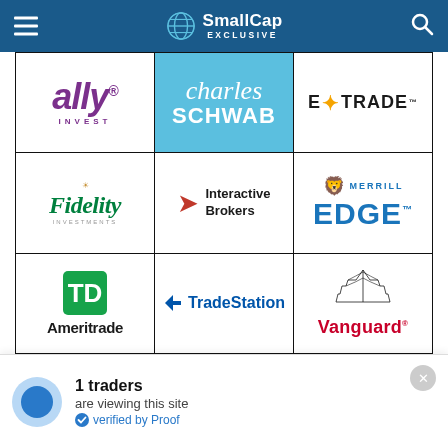SmallCap EXCLUSIVE
[Figure (logo): Grid of broker logos: Ally Invest, Charles Schwab, E*TRADE, Fidelity Investments, Interactive Brokers, Merrill Edge, TD Ameritrade, TradeStation, Vanguard]
1 traders are viewing this site
verified by Proof